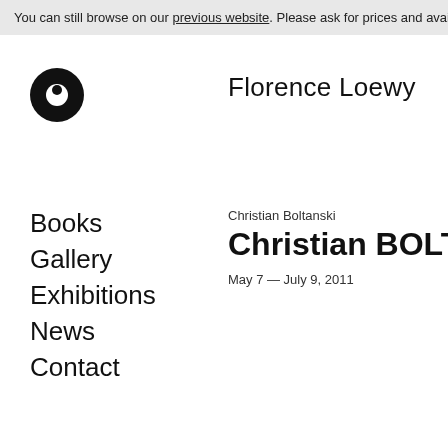You can still browse on our previous website. Please ask for prices and avail…
[Figure (logo): Florence Loewy gallery logo — black filled circle with white inner circle]
Florence Loewy
Books
Gallery
Exhibitions
News
Contact
Christian Boltanski
Christian BOLTANSKI
May 7 — July 9, 2011